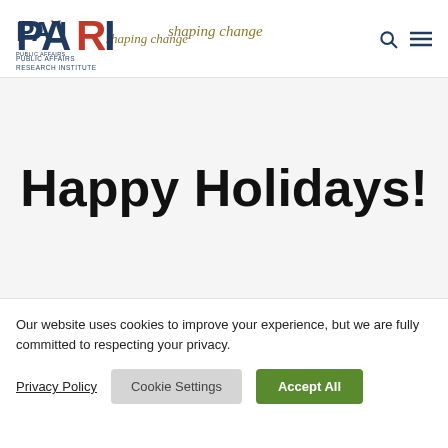PARI – Public Affairs Research Institute – shaping change
Happy Holidays!
Our website uses cookies to improve your experience, but we are fully committed to respecting your privacy.
Privacy Policy | Cookie Settings | Accept All